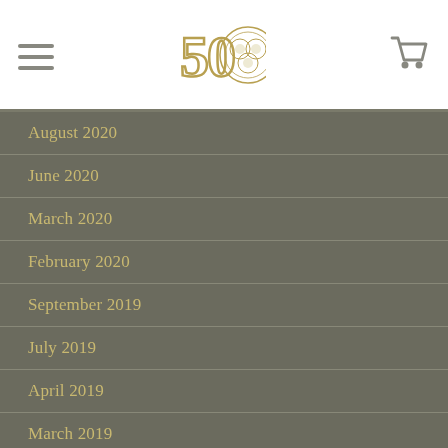Navigation header with logo and cart
August 2020
June 2020
March 2020
February 2020
September 2019
July 2019
April 2019
March 2019